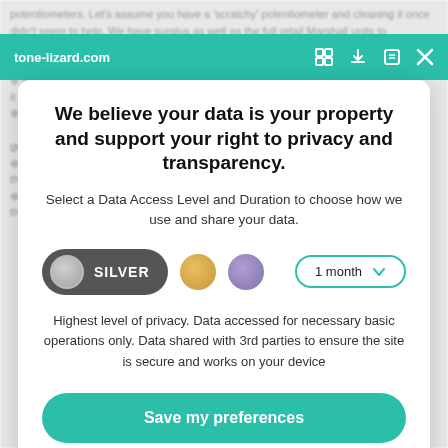tone-lizard.com
We believe your data is your property and support your right to privacy and transparency.
Select a Data Access Level and Duration to choose how we use and share your data.
SILVER | 1 month (data access level and duration controls)
Highest level of privacy. Data accessed for necessary basic operations only. Data shared with 3rd parties to ensure the site is secure and works on your device
Save my preferences
Customize
Privacy policy